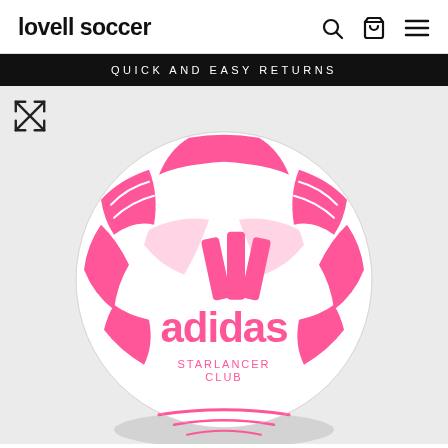lovell soccer
QUICK AND EASY RETURNS
[Figure (photo): Adidas Starlancer Club soccer ball in white and pink, featuring the adidas logo and three stripes in pink on a light grey background. Expand icon visible in top-left corner.]